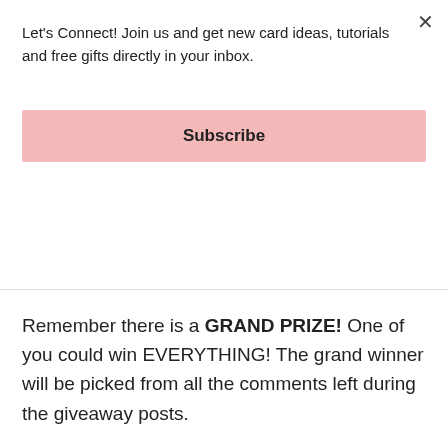Let's Connect! Join us and get new card ideas, tutorials and free gifts directly in your inbox.
Subscribe
lucky winners!
Remember there is a GRAND PRIZE! One of you could win EVERYTHING! The grand winner will be picked from all the comments left during the giveaway posts.
Again, you have until Saturday, April 12th to comment, so there's plenty of time and lots of chances to win! Thanks so much for joining me in this celebration. Thanks for all your sweet comments and your support.